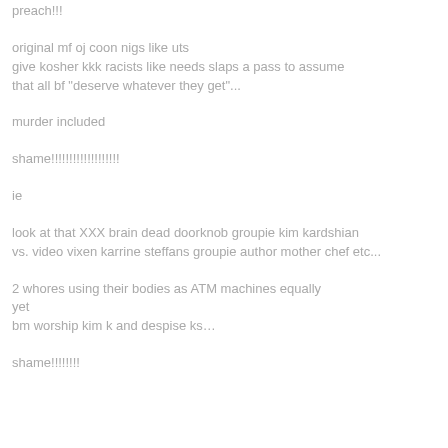preach!!!
original mf oj coon nigs like uts
give kosher kkk racists like needs slaps a pass to assume
that all bf "deserve whatever they get"...
murder included
shame!!!!!!!!!!!!!!!!!!!
ie
look at that XXX brain dead doorknob groupie kim kardshian
vs. video vixen karrine steffans groupie author mother chef etc...
2 whores using their bodies as ATM machines equally
yet
bm worship kim k and despise ks…
shame!!!!!!!!